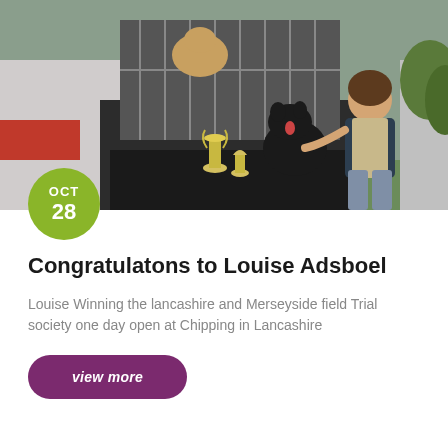[Figure (photo): A woman sitting on the open tailgate of an SUV with dog crates inside, posing with a black Labrador dog and a silver trophy cup in front of them. Outdoor setting with greenery visible.]
Congratulatons to Louise Adsboel
Louise Winning the lancashire and Merseyside field Trial society one day open at Chipping in Lancashire
view more